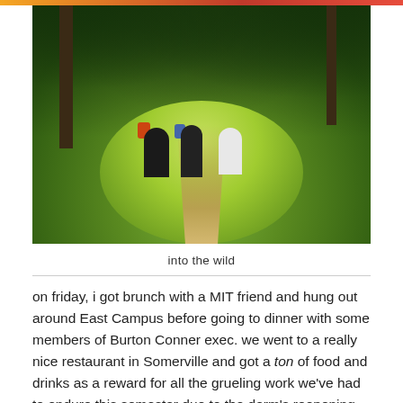[Figure (photo): Three hikers with backpacks walking away from camera on a sunlit grass trail through a forest with tall trees and dappled light.]
into the wild
on friday, i got brunch with a MIT friend and hung out around East Campus before going to dinner with some members of Burton Conner exec. we went to a really nice restaurant in Somerville and got a ton of food and drinks as a reward for all the grueling work we've had to endure this semester due to the dorm's reopening. after, i hiked to the Kendall T station and took the train to the